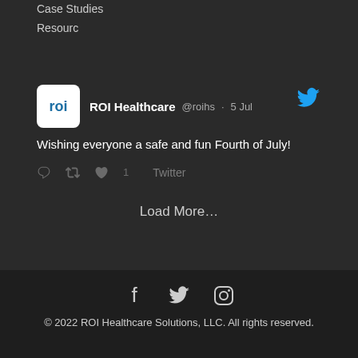Case Studies
Resourc
[Figure (screenshot): Tweet from ROI Healthcare (@roihs) dated 5 Jul: 'Wishing everyone a safe and fun Fourth of July!' with Twitter icon, reply, retweet, and like action icons, and a Twitter link.]
Load More…
© 2022 ROI Healthcare Solutions, LLC. All rights reserved.